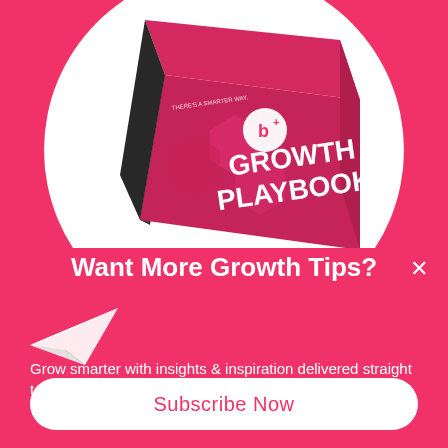[Figure (illustration): A pink/magenta book titled 'GROWTH PLAYBOOK' with a 'b+' logo, displayed on a white circular background against a pink background. A small paper airplane is visible in the lower left.]
Want More Growth Tips?
Grow smarter with insights & inspiration delivered straight to your inbox.
Subscribe Now